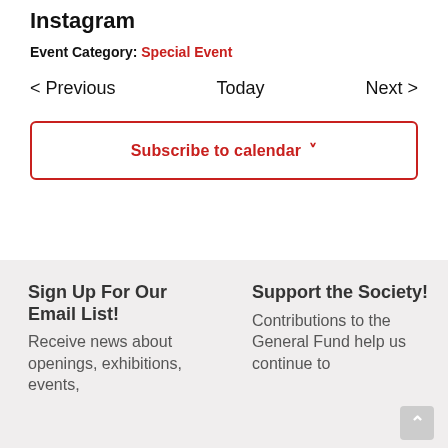Instagram
Event Category: Special Event
< Previous   Today   Next >
Subscribe to calendar
Sign Up For Our Email List!
Receive news about openings, exhibitions, events,
Support the Society!
Contributions to the General Fund help us continue to